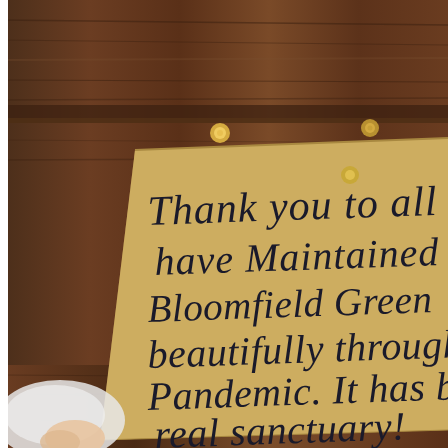[Figure (photo): A photograph of a handwritten note on brown kraft paper pinned to a dark wooden surface. The note reads: 'Thank you to all who have maintained Bloomfield Green so beautifully throughout the Pandemic. It has been a real sanctuary!' The note is partially visible, cropped at the right edge. In the lower left corner, a white plastic bag and a child's hand are partially visible.]